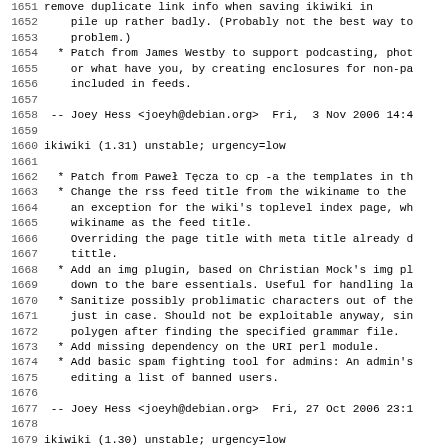Changelog/diff viewer showing lines 1651-1683 of ikiwiki debian changelog
1652-1653: pile up rather badly. (Probably not the best way to... problem.)
1654-1656: * Patch from James Westby to support podcasting, phot... included in feeds.
1657: (blank)
1658: -- Joey Hess <joeyh@debian.org>  Fri,  3 Nov 2006 14:4
1659: (blank)
1660: ikiwiki (1.31) unstable; urgency=low
1661: (blank)
1662: * Patch from Pawel Tecza to cp -a the templates in th
1663-1665: * Change the rss feed title from the wikiname to the... wikiname as the feed title.
1666-1667: Overriding the page title with meta title already d... tittle.
1668-1669: * Add an img plugin, based on Christian Mock's img pl... down to the bare essentials. Useful for handling la
1670-1672: * Sanitize possibly problimatic characters out of the... polygen after finding the specified grammar file.
1673: * Add missing dependency on the URI perl module.
1674-1675: * Add basic spam fighting tool for admins: An admin's... editing a list of banned users.
1676: (blank)
1677: -- Joey Hess <joeyh@debian.org>  Fri, 27 Oct 2006 23:1
1678: (blank)
1679: ikiwiki (1.30) unstable; urgency=low
1680: (blank)
1681: * Add no_override parameter to hook().
1682: * Add a shortcut plugin, inspired by Victor Moral's c
1683: plugin, but featuring a more ikiwiki-ish syntax and